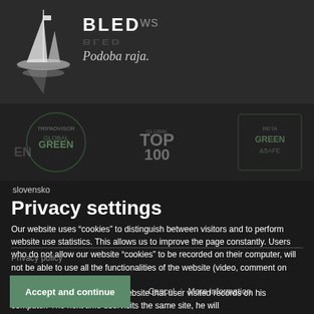BLED NEWS — Podoba raja.
slovensko
Privacy settings
Our website uses “cookies” to distinguish between visitors and to perform website use statistics. This allows us to improve the page constantly. Users who do not allow our website “cookies” to be recorded on their computer, will not be able to use all the functionalities of the website (video, comment on Facebook, etc.).
Cookies are small files that a website that user visited records on his computer. The next time uservisits the same site, he will be recognised by the system...
Privacy policy
Accept and continue   Cancel  |  More information